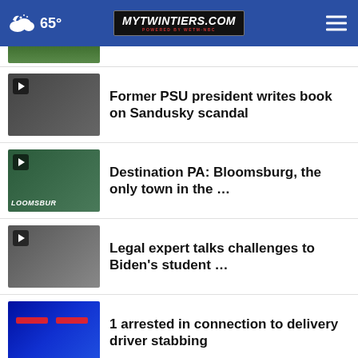MyTwinTiers.com — 65°
[Figure (screenshot): Partially visible news thumbnail at top]
Former PSU president writes book on Sandusky scandal
Destination PA: Bloomsburg, the only town in the ...
Legal expert talks challenges to Biden's student ...
1 arrested in connection to delivery driver stabbing
Ithaca Starbucks employee fired; workers strike
lawsuit
[Figure (screenshot): Advertisement: Time For a Trim? Hair Cuttery]